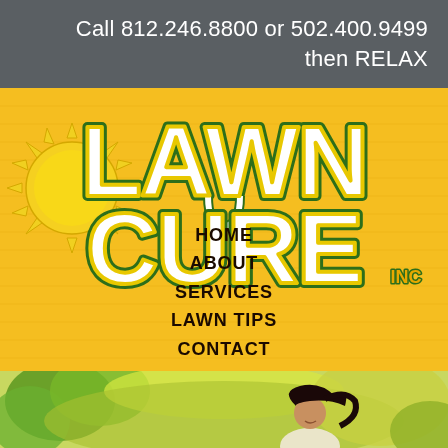Call 812.246.8800 or 502.400.9499 then RELAX
[Figure (logo): Lawn Cure Inc. logo with sun graphic on yellow background]
HOME
ABOUT
SERVICES
LAWN TIPS
CONTACT
[Figure (photo): Woman smiling outdoors in green/yellow foliage setting]